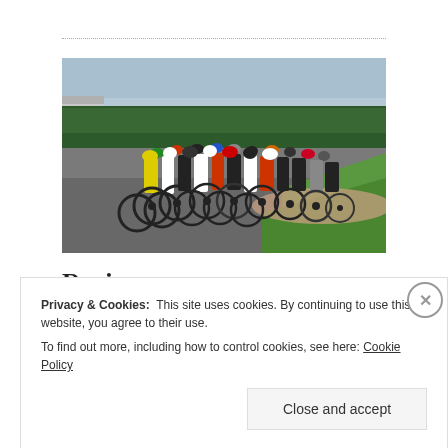[Figure (photo): A large group of cyclists racing on a road circuit track, bending around a corner. Trees visible in background, with grass and a curb on the right side.]
Racing
Privacy & Cookies:  This site uses cookies. By continuing to use this website, you agree to their use.
To find out more, including how to control cookies, see here: Cookie Policy
Close and accept